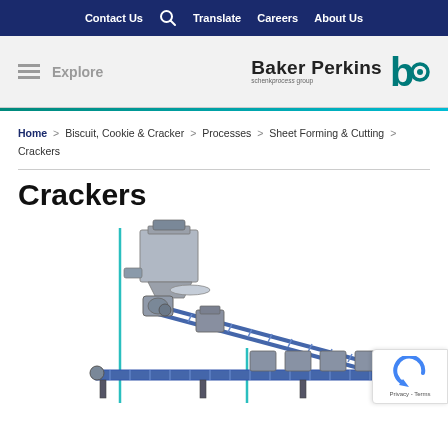Contact Us | Translate | Careers | About Us
[Figure (logo): Baker Perkins logo with teal 'b' icon and text 'Baker Perkins, schenk process group']
Home > Biscuit, Cookie & Cracker > Processes > Sheet Forming & Cutting > Crackers
Crackers
[Figure (photo): Industrial cracker production line machinery — grey and blue conveyor/sheet forming equipment photographed against white background]